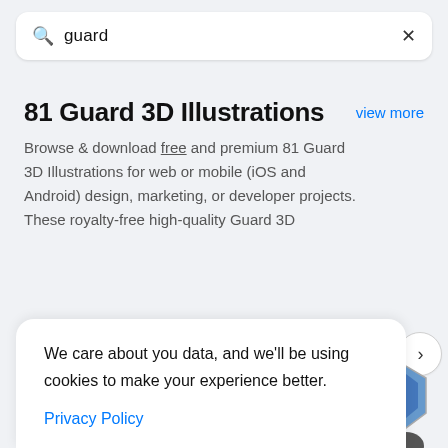guard
81 Guard 3D Illustrations
Browse & download free and premium 81 Guard 3D Illustrations for web or mobile (iOS and Android) design, marketing, or developer projects. These royalty-free high-quality Guard 3D
Adobe 3D Illustrations
Analytic 3D Illustrations
We care about you data, and we'll be using cookies to make your experience better.

Privacy Policy